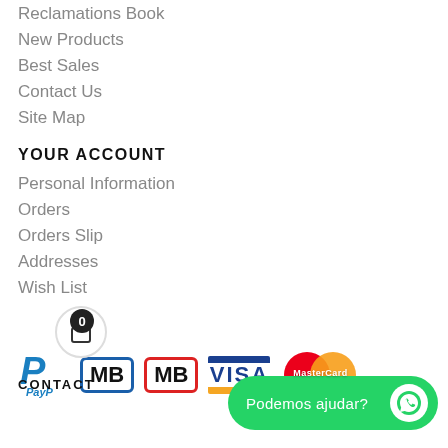Reclamations Book
New Products
Best Sales
Contact Us
Site Map
YOUR ACCOUNT
Personal Information
Orders
Orders Slip
Addresses
Wish List
[Figure (logo): Payment method logos: PayPal, MB (blue border), MB (red border), VISA, MasterCard]
CONTACT
[Figure (illustration): WhatsApp green button with text Podemos ajudar?]